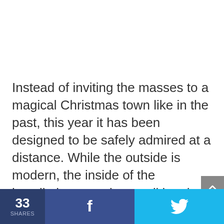Instead of inviting the masses to a magical Christmas town like in the past, this year it has been designed to be safely admired at a distance. While the outside is modern, the inside of the installation reveals a traditional tree assuring everyone that, notwithstanding the changes brought by the pandemic, the Christmas spirit, like always, stays the same
33 SHARES | f | (twitter bird)